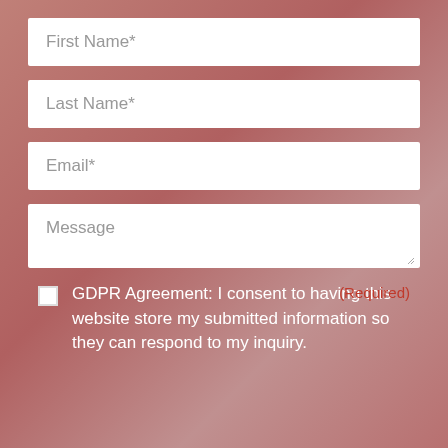First Name*
Last Name*
Email*
Message
GDPR Agreement: I consent to having this website store my submitted information so they can respond to my inquiry.
(Required)